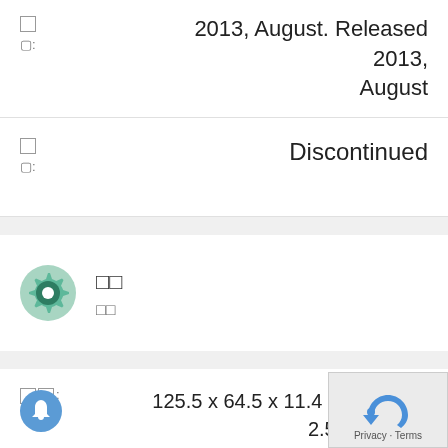2013, August. Released 2013, August
Discontinued
[Figure (illustration): Settings gear icon (green/teal) next to two boxes with Korean characters (unreadable) indicating a settings or specifications section]
125.5 x 64.5 x 11.4 mm (4.94 x 2.54 x 0.45 in)